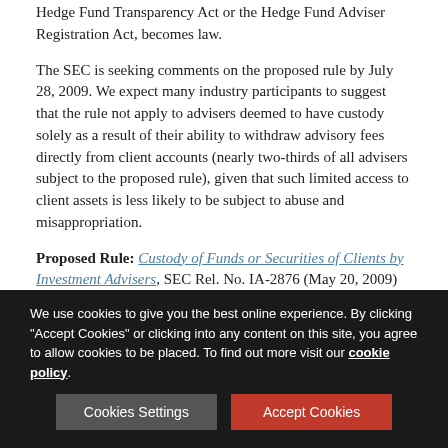Hedge Fund Transparency Act or the Hedge Fund Adviser Registration Act, becomes law.
The SEC is seeking comments on the proposed rule by July 28, 2009. We expect many industry participants to suggest that the rule not apply to advisers deemed to have custody solely as a result of their ability to withdraw advisory fees directly from client accounts (nearly two-thirds of all advisers subject to the proposed rule), given that such limited access to client assets is less likely to be subject to abuse and misappropriation.
Proposed Rule: Custody of Funds or Securities of Clients by Investment Advisers, SEC Rel. No. IA-2876 (May 20, 2009)
Related Client Alert: Available here (PDF)
We use cookies to give you the best online experience. By clicking "Accept Cookies" or clicking into any content on this site, you agree to allow cookies to be placed. To find out more visit our cookie policy.